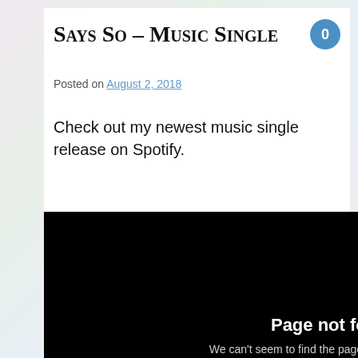Says So – Music Single
Posted on August 2, 2018
Check out my newest music single release on Spotify.
[Figure (screenshot): Spotify embedded player showing 'Page not found' error on black background with Spotify logo icon. Text reads: 'Page not found' and 'We can't seem to find the page you are looking for.']